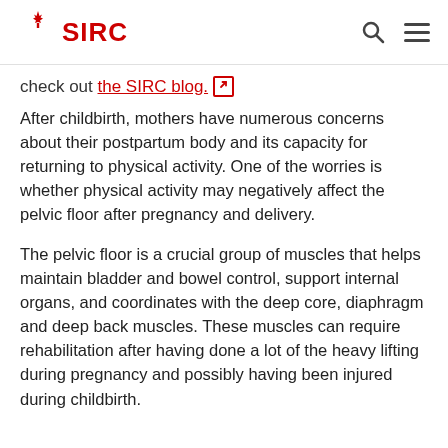SIRC
check out the SIRC blog.
After childbirth, mothers have numerous concerns about their postpartum body and its capacity for returning to physical activity. One of the worries is whether physical activity may negatively affect the pelvic floor after pregnancy and delivery.
The pelvic floor is a crucial group of muscles that helps maintain bladder and bowel control, support internal organs, and coordinates with the deep core, diaphragm and deep back muscles. These muscles can require rehabilitation after having done a lot of the heavy lifting during pregnancy and possibly having been injured during childbirth.